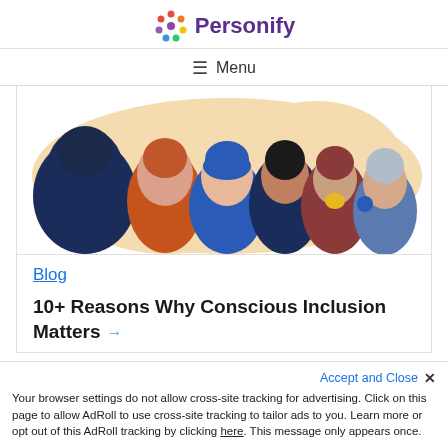Personify
≡ Menu
[Figure (illustration): Illustration of six diverse people shown from the shoulders up in profile/side view against a light peach blob background. People have different skin tones and hair styles. Colors include dark navy, orange/red, blue, dark brown, maroon/brown, and light blue/grey.]
Blog
10+ Reasons Why Conscious Inclusion Matters →
Your browser settings do not allow cross-site tracking for advertising. Click on this page to allow AdRoll to use cross-site tracking to tailor ads to you. Learn more or opt out of this AdRoll tracking by clicking here. This message only appears once.